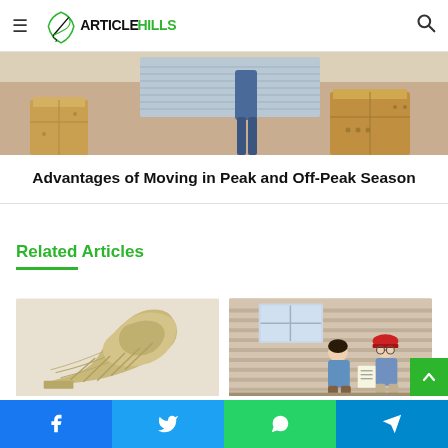ArticleHills
[Figure (photo): Moving scene with cardboard boxes and a person carrying boxes in a room]
Advantages of Moving in Peak and Off-Peak Season
Related Articles
[Figure (photo): Curved wooden slat furniture piece, light beige/tan color]
[Figure (photo): Two men inspecting house siding; one wearing red hard hat, other in blue shirt]
Facebook | Twitter | WhatsApp | Telegram social share buttons